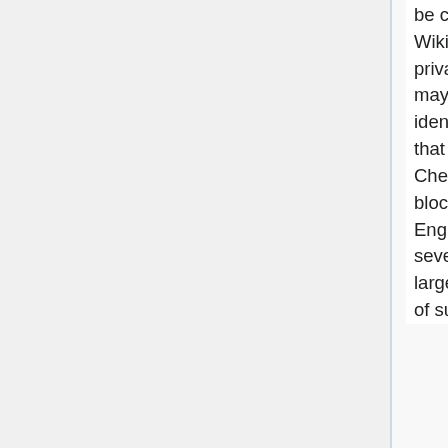be controversial, in part because its use is not transparent. On English Wikipedia, administrators and editors may request checks through private channels (email, IRC, or other messaging), and CheckUsers may run queries without a specific request when they themselves identify suspicious accounts. Some other Wikimedia projects require that all CheckUser requests be made on-wiki. English Wikipedia CheckUsers routinely participate in cross-wiki checks to identify and block spambots and cross-project vandals. It should be noted that English Wikipedia is the largest project and is the main target of several virulent serial vandals using multiple accounts, often causing large-scale disruption over a very short period; advance identification of such accounts prior to